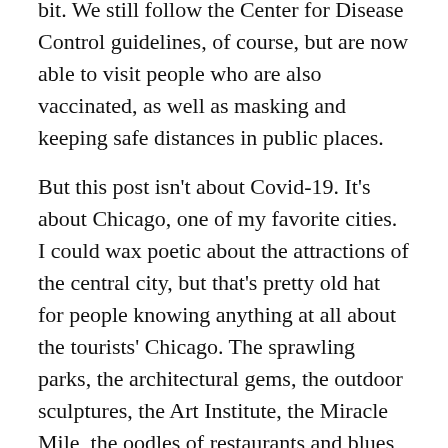bit.  We still follow the Center for Disease Control guidelines, of course, but are now able to visit people who are also vaccinated, as well as masking and keeping safe distances in public places.
But this post isn't about Covid-19.  It's about Chicago, one of my favorite cities.  I could wax poetic about the attractions of the central city, but that's pretty old hat for people knowing anything at all about the tourists' Chicago.  The sprawling parks, the architectural gems, the outdoor sculptures, the Art Institute, the Miracle Mile, the oodles of restaurants and blues bars.  Just too numerous to list them all, much less do them justice.
However, this trip, we explored two spots a bit off the beaten path.  The Chicago Botanic Garden, about a half-hour's drive north of the city, is a venue far too good to pass up.  When we visited, daffodils carpeted many of the slopes, bringing to mind Wordsworth's "host of